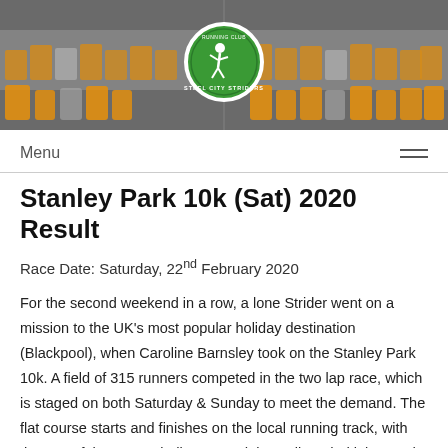[Figure (photo): Group photo of Steel City Striders Running Club members wearing orange vests, shown in black and white with the club logo (green circle with running figure) overlaid in color in the center]
Menu
Stanley Park 10k (Sat) 2020 Result
Race Date: Saturday, 22nd February 2020
For the second weekend in a row, a lone Strider went on a mission to the UK's most popular holiday destination (Blackpool), when Caroline Barnsley took on the Stanley Park 10k. A field of 315 runners competed in the two lap race, which is staged on both Saturday & Sunday to meet the demand. The flat course starts and finishes on the local running track, with the rest of the route winding around the well tended lakes and gardens of Stanley Park (winner of UK's Best